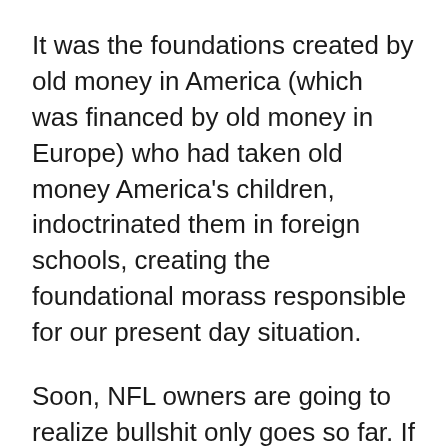It was the foundations created by old money in America (which was financed by old money in Europe) who had taken old money America's children, indoctrinated them in foreign schools, creating the foundational morass responsible for our present day situation.
Soon, NFL owners are going to realize bullshit only goes so far. If the American public refrains from betting NFL games, owners will begin to feel a pressure that few of us could bring to bear across the board.
The games people play in the real world are truly dangerous (like swimming off your